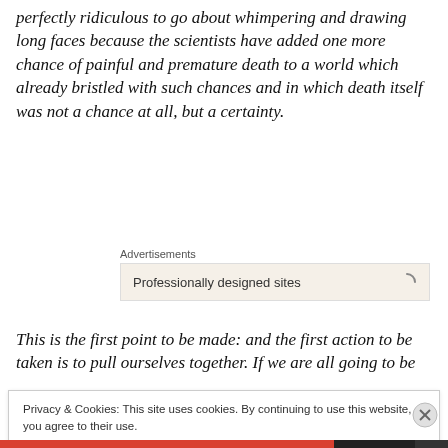perfectly ridiculous to go about whimpering and drawing long faces because the scientists have added one more chance of painful and premature death to a world which already bristled with such chances and in which death itself was not a chance at all, but a certainty.
[Figure (other): Advertisements banner with label 'Advertisements' and a beige box showing 'Professionally designed sites' with a loading spinner icon]
This is the first point to be made: and the first action to be taken is to pull ourselves together. If we are all going to be
Privacy & Cookies: This site uses cookies. By continuing to use this website, you agree to their use.
To find out more, including how to control cookies, see here: Cookie Policy